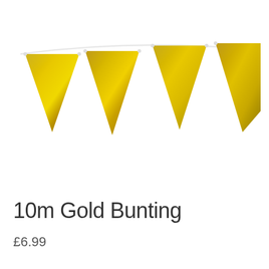[Figure (photo): Four shiny metallic gold triangular bunting flags hanging on a white string/rope against a white background. The flags are pennant-shaped (triangles pointing downward) with a glossy gold foil finish.]
10m Gold Bunting
£6.99